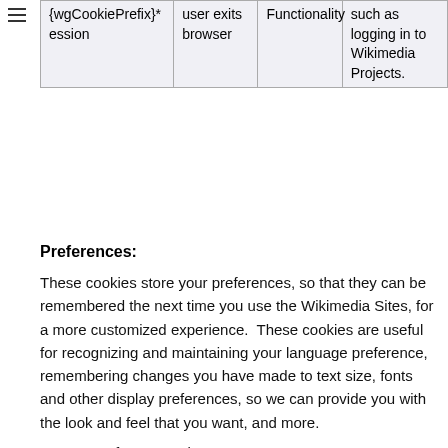| Name | Expires | Category | What does it do? |
| --- | --- | --- | --- |
| {wgCookiePrefix}*
ession | user exits browser | Functionality | such as logging in to Wikimedia Projects. |
|  |  |  | Tells us not to redirect to |
Preferences:
These cookies store your preferences, so that they can be remembered the next time you use the Wikimedia Sites, for a more customized experience.  These cookies are useful for recognizing and maintaining your language preference, remembering changes you have made to text size, fonts and other display preferences, so we can provide you with the look and feel that you want, and more.
Here are a few examples:
| Name | Expires | Category | What does it do? |
| --- | --- | --- | --- |
|  |  |  | Tells us not to redirect to |